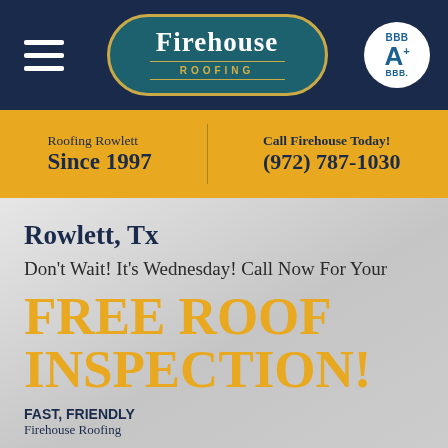Firehouse Roofing
Roofing Rowlett Since 1997 | Call Firehouse Today! (972) 787-1030
Rowlett, Tx
Don't Wait! It's Wednesday! Call Now For Your
FREE ROOF INSPECTION!
FAST, FRIENDLY
Firehouse Roofing